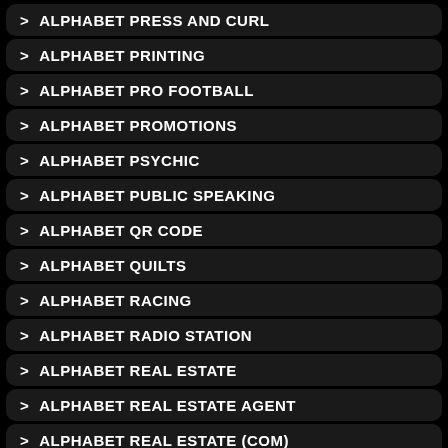> ALPHABET PRESS AND CURL
> ALPHABET PRINTING
> ALPHABET PRO FOOTBALL
> ALPHABET PROMOTIONS
> ALPHABET PSYCHIC
> ALPHABET PUBLIC SPEAKING
> ALPHABET QR CODE
> ALPHABET QUILTS
> ALPHABET RACING
> ALPHABET RADIO STATION
> ALPHABET REAL ESTATE
> ALPHABET REAL ESTATE AGENT
> ALPHABET REAL ESTATE (COM)